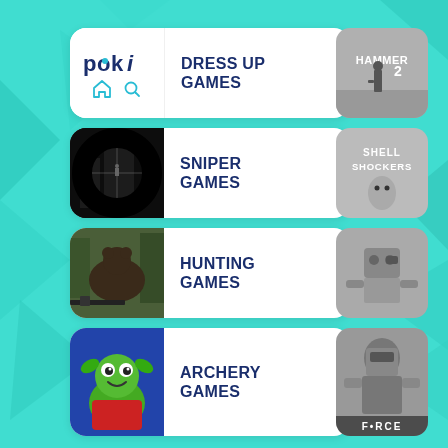[Figure (screenshot): Poki logo card with home and search icons, labeled DRESS UP GAMES]
[Figure (screenshot): Game thumbnail - Hammer2 game (grayscale) on right side]
[Figure (screenshot): Sniper game card with crosshair scope image, labeled SNIPER GAMES]
[Figure (screenshot): Shell Shockers game thumbnail (grayscale) on right side]
[Figure (screenshot): Hunting game card with bear hunting image, labeled HUNTING GAMES]
[Figure (screenshot): Third game thumbnail (grayscale) with robot/character on right side]
[Figure (screenshot): Archery game card with colorful cartoon frog/character, labeled ARCHERY GAMES]
[Figure (screenshot): Force game thumbnail (grayscale) on right side]